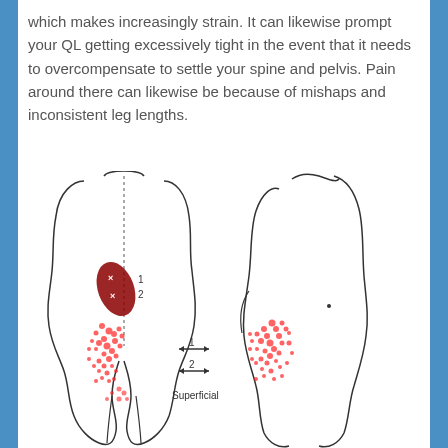which makes increasingly strain. It can likewise prompt your QL getting excessively tight in the event that it needs to overcompensate to settle your spine and pelvis. Pain around there can likewise be because of mishaps and inconsistent leg lengths.
[Figure (illustration): Medical illustration showing two views of the human torso (posterior and lateral) with trigger points and referred pain patterns for the quadratus lumborum (QL) muscle. The left view shows the back with muscle trigger points marked as X (labeled 1 and 2) and dotted red referred pain areas in the lower back and buttock region. Arrows labeled 1 and 2 indicate superficial trigger point levels. The right view shows the lateral aspect with red dotted referred pain patterns on the hip and buttock. The word 'Superficial' is labeled at the bottom center.]